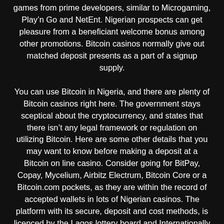games from prime developers, similar to Microgaming, Play'n Go and NetEnt. Nigerian prospects can get pleasure from a beneficiant welcome bonus among other promotions. Bitcoin casinos normally give out matched deposit presents as a part of a signup supply.

You can use Bitcoin in Nigeria, and there are plenty of Bitcoin casinos right here. The government stays sceptical about the cryptocurrency, and states that there isn't any legal framework or regulation on utilizing Bitcoin. Here are some other details that you may want to know before making a deposit at a Bitcoin on line casino. Consider going for BitPay, Copay, Mycelium, Airbitz Electrum, Bitcoin Core or a Bitcoin.com pockets, as they are within the record of accepted wallets in lots of Nigerian casinos. The platform with its secure, deposit and cost methods, is licenced by the Lagos lottery board and Internationally certified by the ITech Lab. This phrase is a familiar one to all gamers, and just when you're in your method to